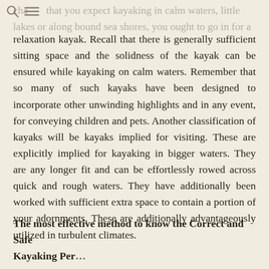cha that you expect kayaking in calm waters, little lakes or along bound sea shores, you ought to go in for a
relaxation kayak. Recall that there is generally sufficient sitting space and the solidness of the kayak can be ensured while kayaking on calm waters. Remember that so many of such kayaks have been designed to incorporate other unwinding highlights and in any event, for conveying children and pets. Another classification of kayaks will be kayaks implied for visiting. These are explicitly implied for kayaking in bigger waters. They are any longer fit and can be effortlessly rowed across quick and rough waters. They have additionally been worked with sufficient extra space to contain a portion of your adornments. These are additionally advantageously utilized in turbulent climates.
The most effective method to know the Correct and Safe Kayaking Per...